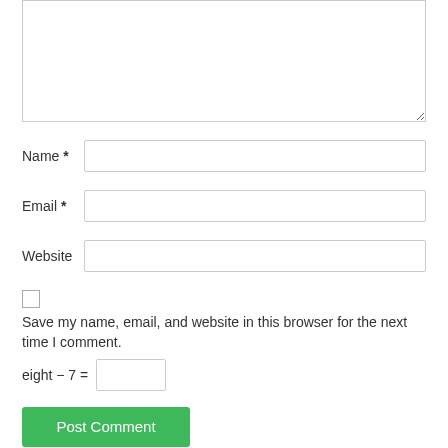[Figure (screenshot): Comment form textarea (empty, resizable)]
Name *
Email *
Website
Save my name, email, and website in this browser for the next time I comment.
eight − 7 =
Post Comment